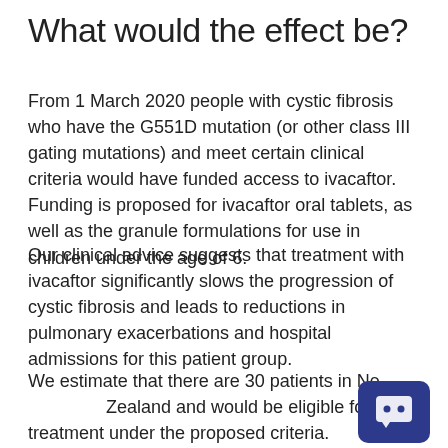What would the effect be?
From 1 March 2020 people with cystic fibrosis who have the G551D mutation (or other class III gating mutations) and meet certain clinical criteria would have funded access to ivacaftor. Funding is proposed for ivacaftor oral tablets, as well as the granule formulations for use in children under the age of 6.
Our clinical advice suggests that treatment with ivacaftor significantly slows the progression of cystic fibrosis and leads to reductions in pulmonary exacerbations and hospital admissions for this patient group.
We estimate that there are 30 patients in New Zealand and would be eligible for treatment under the proposed criteria.